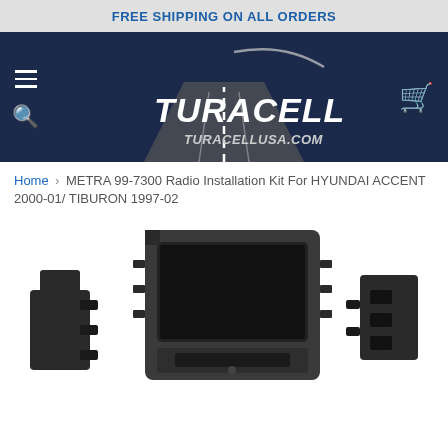FREE SHIPPING ON ALL ORDERS
[Figure (logo): Turacell logo with road/highway graphic on dark navy background, TURACELLUSA.COM tagline]
Home > METRA 99-7300 Radio Installation Kit For HYUNDAI ACCENT 2000-01/ TIBURON 1997-02
[Figure (photo): Product photo of METRA 99-7300 radio installation kit showing black plastic dash kit bracket components on white background]